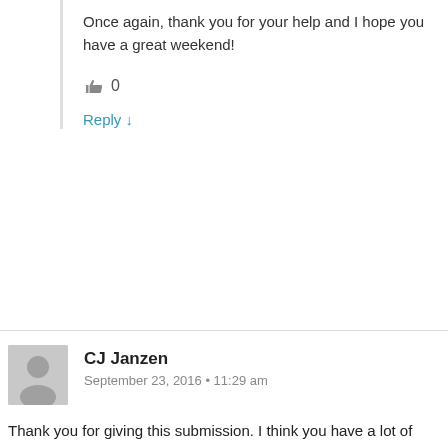Once again, thank you for your help and I hope you have a great weekend!
👍 0
Reply ↓
CJ Janzen
September 23, 2016 • 11:29 am
Thank you for giving this submission. I think you have a lot of potential here as a writer. Your language is very beautiful and rich. You have a good eye for detail in scenery, and you have many good places where you brilliantly show your character's mind.
Now remember, Bryan Davis really strives for the intimate point of view writing style, and I feel like that is what your work is striving for, but you need to just add a little bit to get this going better. The biggest thing that the story is missing, at this point,